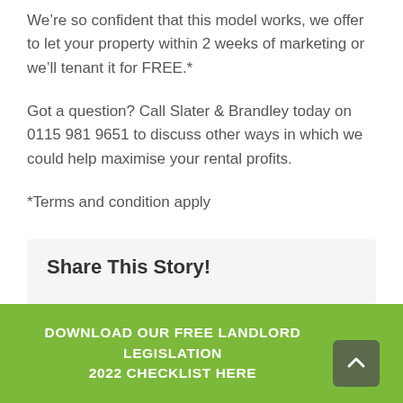We’re so confident that this model works, we offer to let your property within 2 weeks of marketing or we’ll tenant it for FREE.*
Got a question? Call Slater & Brandley today on 0115 981 9651 to discuss other ways in which we could help maximise your rental profits.
*Terms and condition apply
Share This Story!
DOWNLOAD OUR FREE LANDLORD LEGISLATION 2022 CHECKLIST HERE